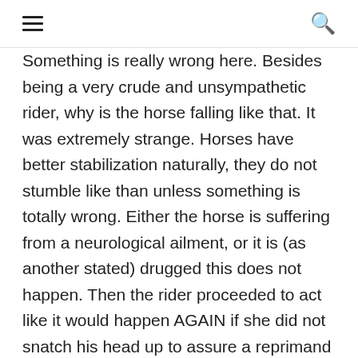≡  🔍
Something is really wrong here. Besides being a very crude and unsympathetic rider, why is the horse falling like that. It was extremely strange. Horses have better stabilization naturally, they do not stumble like than unless something is totally wrong. Either the horse is suffering from a neurological ailment, or it is (as another stated) drugged this does not happen. Then the rider proceeded to act like it would happen AGAIN if she did not snatch his head up to assure a reprimand for his possible next stumble. Very strange, and she